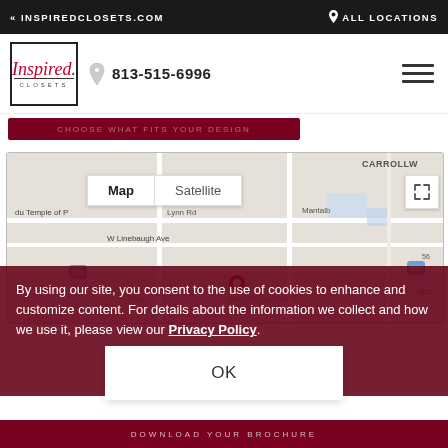< INSPIREDCLOSETS.COM    ♦ ALL LOCATIONS
[Figure (logo): Inspired Closets logo in a black-bordered box with phone number 813-515-6996 and hamburger menu icon]
[Figure (map): Google Maps embed showing area around Carrollwood, Tampa with Map/Satellite toggle buttons]
By using our site, you consent to the use of cookies to enhance and customize content. For details about the information we collect and how we use it, please view our Privacy Policy.
OK
DOWNLOAD YOUR BROCHURE